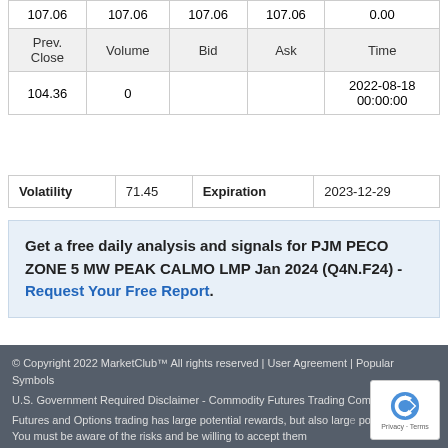| Prev. Close | Volume | Bid | Ask | Time |
| --- | --- | --- | --- | --- |
| 107.06 | 107.06 | 107.06 | 107.06 | 0.00 |
| Prev. Close | Volume | Bid | Ask | Time |
| 104.36 | 0 |  |  | 2022-08-18 00:00:00 |
| Volatility |  | Expiration |  |
| --- | --- | --- | --- |
| Volatility | 71.45 | Expiration | 2023-12-29 |
Get a free daily analysis and signals for PJM PECO ZONE 5 MW PEAK CALMO LMP Jan 2024 (Q4N.F24) - Request Your Free Report.
© Copyright 2022 MarketClub™ All rights reserved | User Agreement | Popular Symbols

U.S. Government Required Disclaimer - Commodity Futures Trading Commission
Futures and Options trading has large potential rewards, but also large potential risk. You must be aware of the risks and be willing to accept them